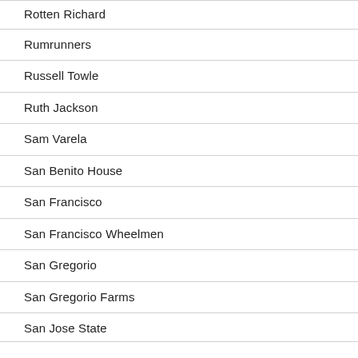Rotten Richard
Rumrunners
Russell Towle
Ruth Jackson
Sam Varela
San Benito House
San Francisco
San Francisco Wheelmen
San Gregorio
San Gregorio Farms
San Jose State